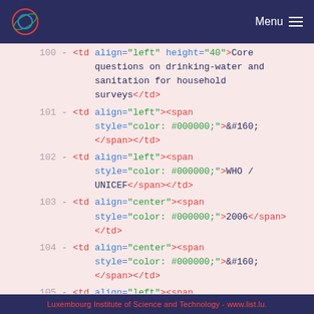Menu
100  - <td align="left" height="40">Core questions on drinking-water and sanitation for household surveys</td>
101  - <td align="left"><span style="color: #000000;">&#160;</span></td>
102  - <td align="left"><span style="color: #000000;">WHO / UNICEF</span></td>
103  - <td align="center"><span style="color: #000000;">2006</span></td>
104  - <td align="center"><span style="color: #000000;">&#160;</span></td>
105  - <td align="left"><span style="color: #000000;">&#160;</span></td>
106  - </tr>
Luxembourg Institute of Science and Technology - www.list.lu.